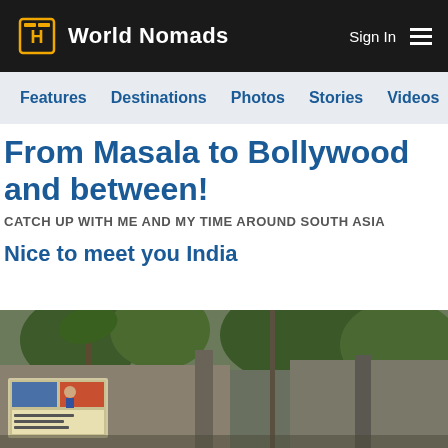World Nomads — Sign In
Features  Destinations  Photos  Stories  Videos  Ta
From Masala to Bollywood and between!
CATCH UP WITH ME AND MY TIME AROUND SOUTH ASIA
Nice to meet you India
[Figure (photo): Street scene in India showing weathered concrete wall, bulletin board with posters, utility poles, and green trees in background]